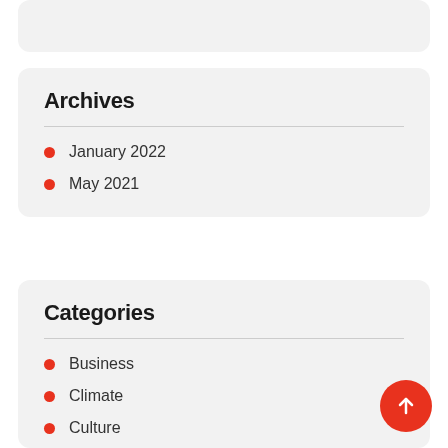Archives
January 2022
May 2021
Categories
Business
Climate
Culture